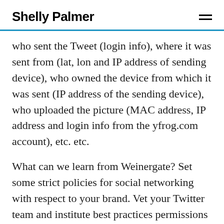Shelly Palmer
who sent the Tweet (login info), where it was sent from (lat, lon and IP address of sending device), who owned the device from which it was sent (IP address of the sending device), who uploaded the picture (MAC address, IP address and login info from the yfrog.com account), etc. etc.
What can we learn from Weinergate? Set some strict policies for social networking with respect to your brand. Vet your Twitter team and institute best practices permissions and protocol for the team members. Make sure your